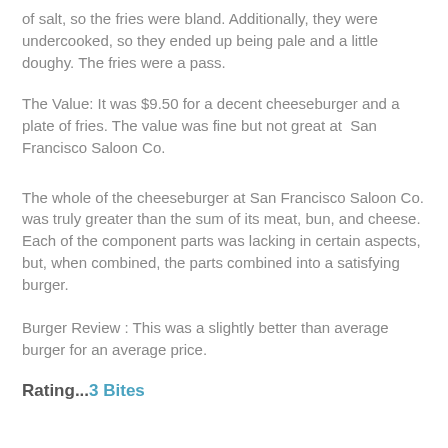of salt, so the fries were bland. Additionally, they were undercooked, so they ended up being pale and a little doughy. The fries were a pass.
The Value: It was $9.50 for a decent cheeseburger and a plate of fries. The value was fine but not great at  San Francisco Saloon Co.
The whole of the cheeseburger at San Francisco Saloon Co. was truly greater than the sum of its meat, bun, and cheese. Each of the component parts was lacking in certain aspects, but, when combined, the parts combined into a satisfying burger.
Burger Review : This was a slightly better than average burger for an average price.
Rating...3 Bites